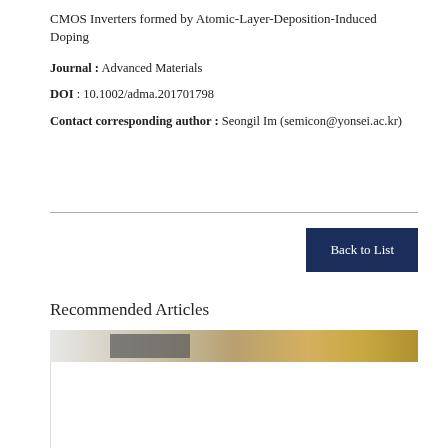CMOS Inverters formed by Atomic-Layer-Deposition-Induced Doping
Journal : Advanced Materials
DOI : 10.1002/adma.201701798
Contact corresponding author : Seongil Im (semicon@yonsei.ac.kr)
Recommended Articles
[Figure (photo): Photo of bookshelves or library interior with warm lighting, partially cropped, with a white overlay card below]